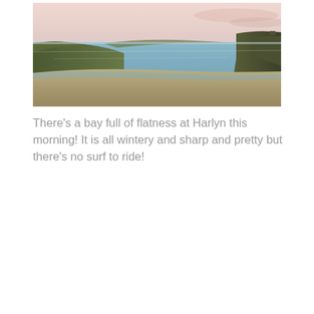[Figure (photo): A coastal bay photograph taken at Harlyn in winter morning light. The scene shows a calm, flat sea bay with sandy beach in the foreground, green headlands on the left and right, and a pale pink and grey dawn sky above.]
There's a bay full of flatness at Harlyn this morning! It is all wintery and sharp and pretty but there's no surf to ride!